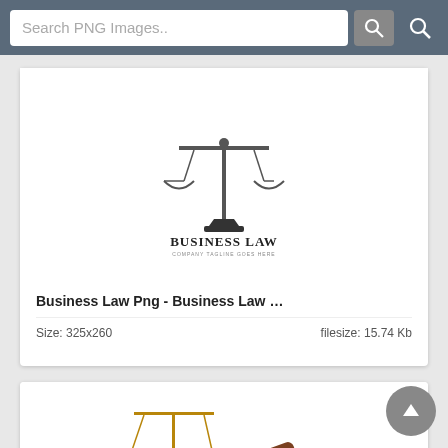[Figure (screenshot): Website screenshot showing a PNG image search interface with a search bar at top and two image result cards below. First card shows a Business Law logo with scales of justice. Second card shows a photo of scales of justice, a gavel, and law books.]
Business Law Png - Business Law …
Size: 325x260
filesize: 15.74 Kb